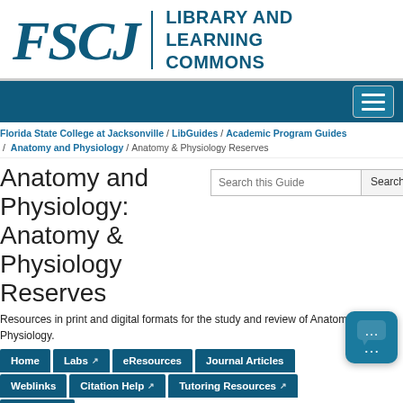[Figure (logo): FSCJ Library and Learning Commons logo with teal FSCJ text and vertical divider]
Navigation bar with hamburger menu button
Florida State College at Jacksonville / LibGuides / Academic Program Guides / Anatomy and Physiology / Anatomy & Physiology Reserves
Anatomy and Physiology: Anatomy & Physiology Reserves
Resources in print and digital formats for the study and review of Anatomy and Physiology.
Home | Labs | eResources | Journal Articles | Weblinks | Citation Help | Tutoring Resources | Login Help
Primal Pictures - Human Anatomy & Physiology Database 3D